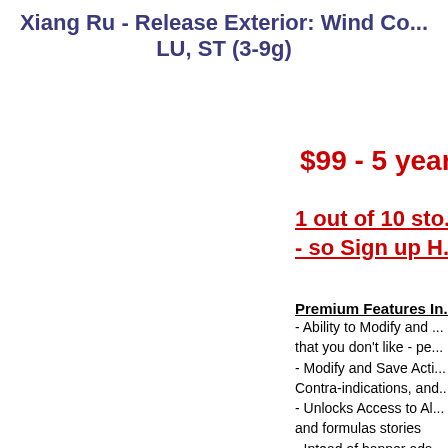Xiang Ru - Release Exterior: Wind Co... LU, ST (3-9g)
$99 - 5 year...
1 out of 10 sto... - so Sign up H...
Premium Features In...
- Ability to Modify and ... that you don't like - pe...
- Modify and Save Acti... Contra-indications, and...
- Unlocks Access to Al... and formulas stories
- Intead of banner ads ... of the herbs! (great fo... and review!)
- Flash Card Review! N... remember for rapid re...
- Review Herb Photos ... select! (coming soon)
- Access the Shang Ha... (Shang Han Lun: simp...
- Access to the update... exam formula study pa...
- Access to learn the C... QUICKLY and EASIL...